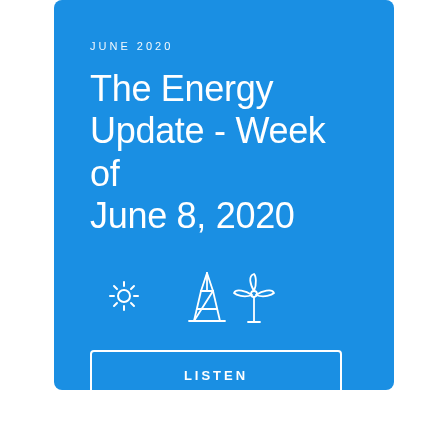JUNE 2020
The Energy Update - Week of June 8, 2020
[Figure (illustration): Three white line icons: a sun/star burst icon, an oil rig/platform icon, and a wind turbine icon]
LISTEN